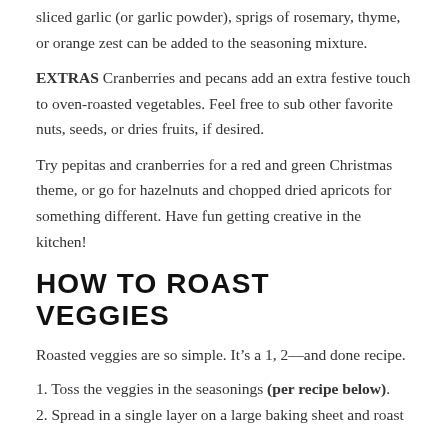sliced garlic (or garlic powder), sprigs of rosemary, thyme, or orange zest can be added to the seasoning mixture.
EXTRAS Cranberries and pecans add an extra festive touch to oven-roasted vegetables. Feel free to sub other favorite nuts, seeds, or dries fruits, if desired.
Try pepitas and cranberries for a red and green Christmas theme, or go for hazelnuts and chopped dried apricots for something different. Have fun getting creative in the kitchen!
HOW TO ROAST VEGGIES
Roasted veggies are so simple. It’s a 1, 2—and done recipe.
1. Toss the veggies in the seasonings (per recipe below).
2. Spread in a single layer on a large baking sheet and roast